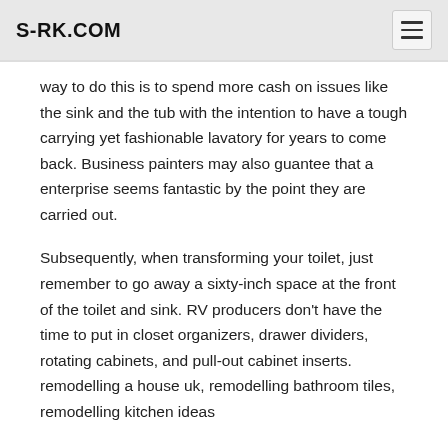S-RK.COM
way to do this is to spend more cash on issues like the sink and the tub with the intention to have a tough carrying yet fashionable lavatory for years to come back. Business painters may also guantee that a enterprise seems fantastic by the point they are carried out.
Subsequently, when transforming your toilet, just remember to go away a sixty-inch space at the front of the toilet and sink. RV producers don’t have the time to put in closet organizers, drawer dividers, rotating cabinets, and pull-out cabinet inserts. remodelling a house uk, remodelling bathroom tiles, remodelling kitchen ideas